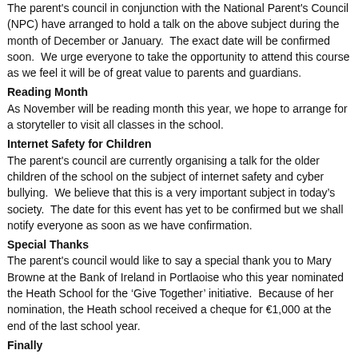The parent's council in conjunction with the National Parent's Council (NPC) have arranged to hold a talk on the above subject during the month of December or January.  The exact date will be confirmed soon.  We urge everyone to take the opportunity to attend this course as we feel it will be of great value to parents and guardians.
Reading Month
As November will be reading month this year, we hope to arrange for a storyteller to visit all classes in the school.
Internet Safety for Children
The parent's council are currently organising a talk for the older children of the school on the subject of internet safety and cyber bullying.  We believe that this is a very important subject in today's society.  The date for this event has yet to be confirmed but we shall notify everyone as soon as we have confirmation.
Special Thanks
The parent's council would like to say a special thank you to Mary Browne at the Bank of Ireland in Portlaoise who this year nominated the Heath School for the ‘Give Together’ initiative.  Because of her nomination, the Heath school received a cheque for €1,000 at the end of the last school year.
Finally